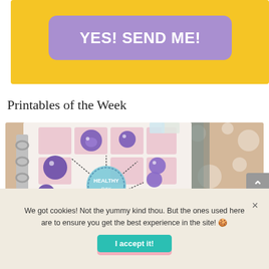[Figure (other): Yellow banner with purple rounded button labeled YES! SEND ME! in bold white text]
Printables of the Week
[Figure (photo): Photo of an open binder/planner showing colorful sticker-style printables including hedgehog characters and a central circle saying HEALTHY with decorative dashed lines]
We got cookies! Not the yummy kind thou. But the ones used here are to ensure you get the best experience in the site! 🍪
I accept it!